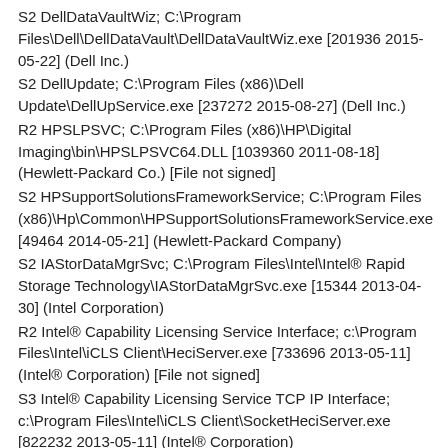S2 DellDataVaultWiz; C:\Program Files\Dell\DellDataVault\DellDataVaultWiz.exe [201936 2015-05-22] (Dell Inc.)
S2 DellUpdate; C:\Program Files (x86)\Dell Update\DellUpService.exe [237272 2015-08-27] (Dell Inc.)
R2 HPSLPSVC; C:\Program Files (x86)\HP\Digital Imaging\bin\HPSLPSVC64.DLL [1039360 2011-08-18] (Hewlett-Packard Co.) [File not signed]
S2 HPSupportSolutionsFrameworkService; C:\Program Files (x86)\Hp\Common\HPSupportSolutionsFrameworkService.exe [49464 2014-05-21] (Hewlett-Packard Company)
S2 IAStorDataMgrSvc; C:\Program Files\Intel\Intel® Rapid Storage Technology\IAStorDataMgrSvc.exe [15344 2013-04-30] (Intel Corporation)
R2 Intel® Capability Licensing Service Interface; c:\Program Files\Intel\iCLS Client\HeciServer.exe [733696 2013-05-11] (Intel® Corporation) [File not signed]
S3 Intel® Capability Licensing Service TCP IP Interface; c:\Program Files\Intel\iCLS Client\SocketHeciServer.exe [822232 2013-05-11] (Intel® Corporation)
S2 Intel® ME Service; C:\Program Files (x86)\Intel\Intel® Management Engine